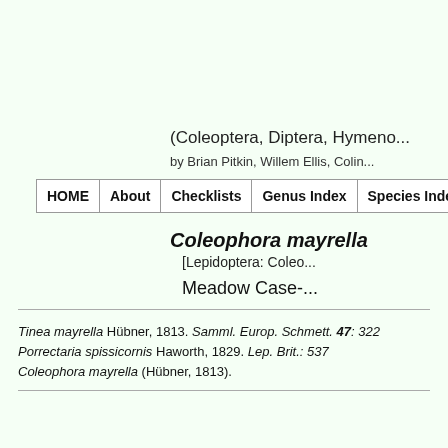(Coleoptera, Diptera, Hymenoptera...)
by Brian Pitkin, Willem Ellis, Colin...
| HOME | About | Checklists | Genus Index | Species Index |
| --- | --- | --- | --- | --- |
Coleophora mayrella
[Lepidoptera: Coleophoridae]
Meadow Case-bearer
Tinea mayrella Hübner, 1813. Samml. Europ. Schmett. 47: 322
Porrectaria spissicornis Haworth, 1829. Lep. Brit.: 537
Coleophora mayrella (Hübner, 1813).